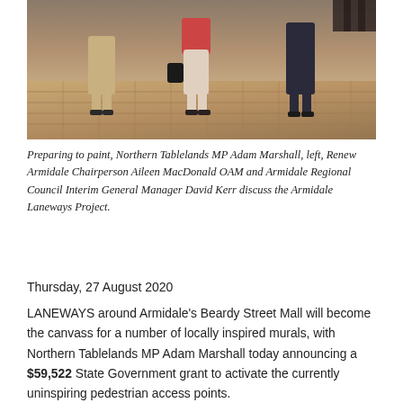[Figure (photo): Three people standing on a brick paved area, likely a town square or mall. Photo shows lower half of the people standing outdoors on decorative brick paving.]
Preparing to paint, Northern Tablelands MP Adam Marshall, left, Renew Armidale Chairperson Aileen MacDonald OAM and Armidale Regional Council Interim General Manager David Kerr discuss the Armidale Laneways Project.
Thursday, 27 August 2020
LANEWAYS around Armidale's Beardy Street Mall will become the canvass for a number of locally inspired murals, with Northern Tablelands MP Adam Marshall today announcing a $59,522 State Government grant to activate the currently uninspiring pedestrian access points.